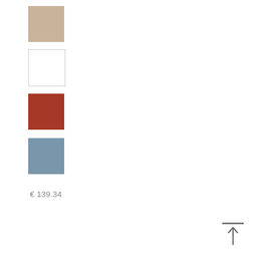[Figure (illustration): Four color swatches stacked vertically: tan/beige, white (with border), dark red/brick, and muted blue-grey]
€ 139.34
[Figure (illustration): Back-to-top icon: a horizontal line above an upward-pointing arrow]